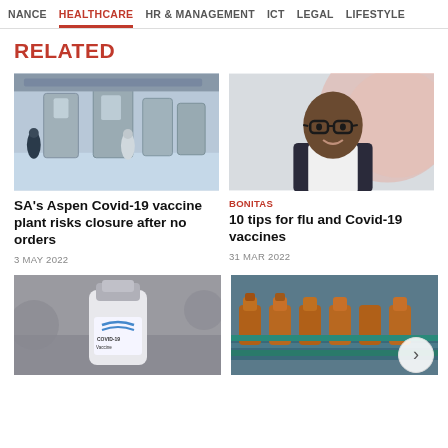NANCE  HEALTHCARE  HR & MANAGEMENT  ICT  LEGAL  LIFESTYLE
RELATED
[Figure (photo): Interior of pharmaceutical manufacturing facility with stainless steel equipment and workers in white protective suits]
SA's Aspen Covid-19 vaccine plant risks closure after no orders
3 MAY 2022
BONITAS
[Figure (photo): Portrait of a smiling man wearing glasses in a dark suit, with a decorative background]
10 tips for flu and Covid-19 vaccines
31 MAR 2022
[Figure (photo): Close-up of a COVID-19 Vaccine vial with blurred pharmaceutical machinery in background]
[Figure (photo): Amber pharmaceutical bottles on a production line conveyor]